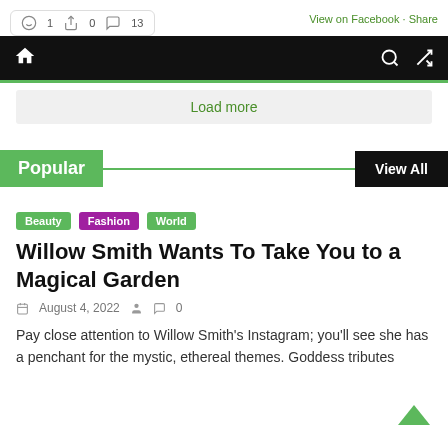1  0  13   View on Facebook · Share
Popular  View All
Beauty  Fashion  World
Willow Smith Wants To Take You to a Magical Garden
August 4, 2022   0
Pay close attention to Willow Smith's Instagram; you'll see she has a penchant for the mystic, ethereal themes. Goddess tributes